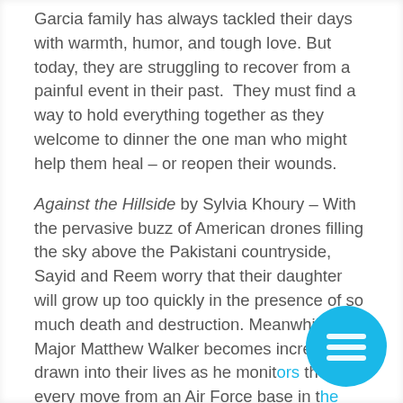Garcia family has always tackled their days with warmth, humor, and tough love. But today, they are struggling to recover from a painful event in their past.  They must find a way to hold everything together as they welcome to dinner the one man who might help them heal – or reopen their wounds.
Against the Hillside by Sylvia Khoury – With the pervasive buzz of American drones filling the sky above the Pakistani countryside, Sayid and Reem worry that their daughter will grow up too quickly in the presence of so much death and destruction. Meanwhile, Major Matthew Walker becomes increasingly drawn into their lives as he monitors their every move from an Air Force base in the Nevada desert. In a world where wars are fought from a distance, who suffers more: the observer or the observed?
[Figure (other): Cyan/blue circular button with three horizontal white lines (hamburger menu icon)]